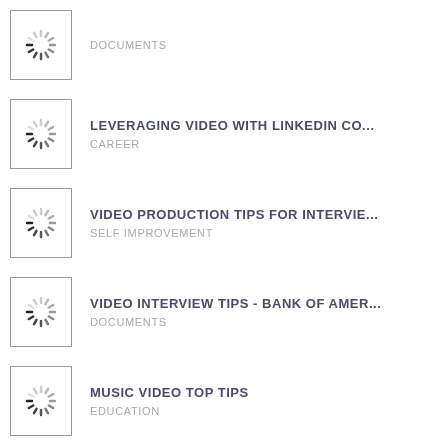DOCUMENTS
LEVERAGING VIDEO WITH LINKEDIN CO... | CAREER
VIDEO PRODUCTION TIPS FOR INTERVIE... | SELF IMPROVEMENT
VIDEO INTERVIEW TIPS - BANK OF AMER... | DOCUMENTS
MUSIC VIDEO TOP TIPS | EDUCATION